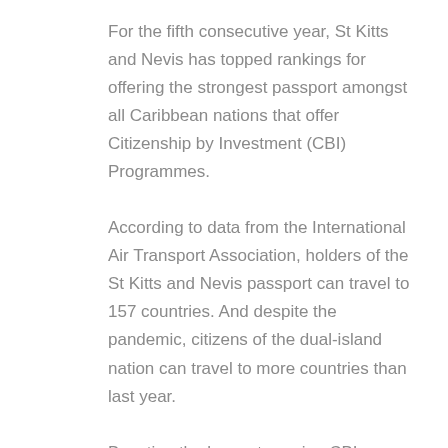For the fifth consecutive year, St Kitts and Nevis has topped rankings for offering the strongest passport amongst all Caribbean nations that offer Citizenship by Investment (CBI) Programmes.
According to data from the International Air Transport Association, holders of the St Kitts and Nevis passport can travel to 157 countries. And despite the pandemic, citizens of the dual-island nation can travel to more countries than last year.
Boasting the longest-running CBI Programme worldwide, launched in 1984, St Kitts and Nevis also outranked other countries that offer the programme,